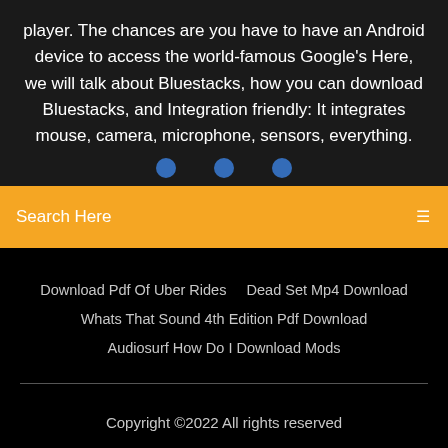player. The chances are you have to have an Android device to access the world-famous Google's Here, we will talk about Bluestacks, how you can download Bluestacks, and Integration friendly: It integrates mouse, camera, microphone, sensors, everything.
Search Here
Download Pdf Of Uber Rides    Dead Set Mp4 Download    Whats That Sound 4th Edition Pdf Download    Audiosurf How Do I Download Mods
Copyright ©2022 All rights reserved